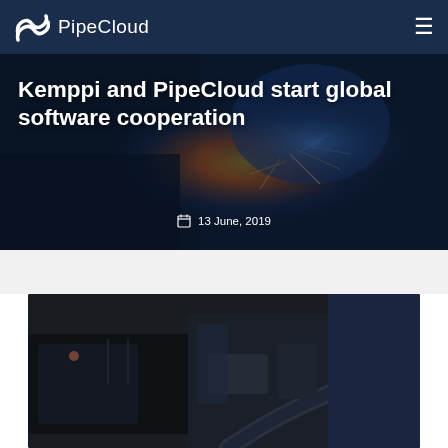PipeCloud
Kemppi and PipeCloud start global software cooperation
13 June, 2019
[Figure (photo): Close-up photograph of welding equipment with orange and dark metallic components against a dark background]